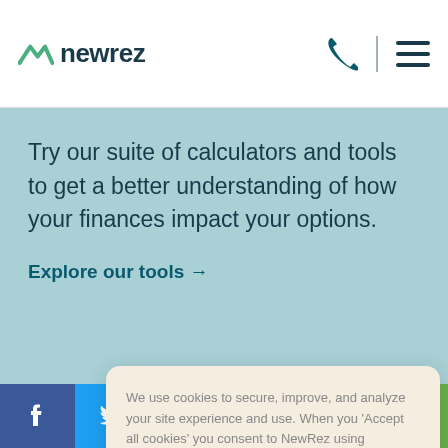newrez
Try our suite of calculators and tools to get a better understanding of how your finances impact your options.
Explore our tools →
We use cookies to secure, improve, and analyze your site experience and use. When you 'Accept all cookies' you consent to NewRez using additional cookies to personalize your experience and ads and direct us to share information they collect with our cookie providers. Privacy Policy
ACCEPT ALL COOKIES
Ne
Call
ge